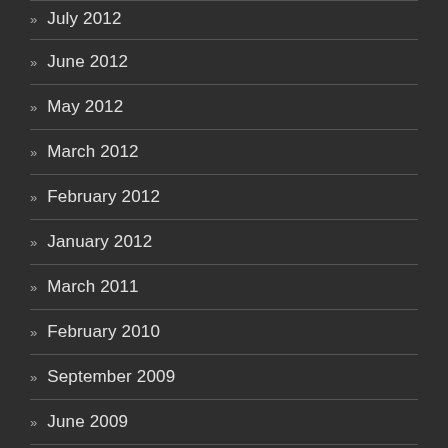July 2012
June 2012
May 2012
March 2012
February 2012
January 2012
March 2011
February 2010
September 2009
June 2009
March 2009